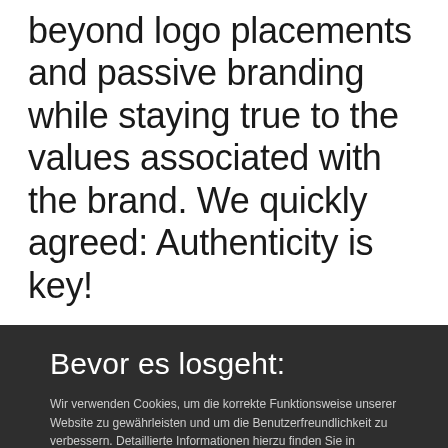beyond logo placements and passive branding while staying true to the values associated with the brand. We quickly agreed: Authenticity is key!
Bevor es losgeht:
Wir verwenden Cookies, um die korrekte Funktionsweise unserer Website zu gewährleisten und um die Benutzerfreundlichkeit zu verbessern. Detaillierte Informationen hierzu finden Sie in unseren Datenschutzhinweisen"
SHOW COOKIES
Privacy
Policy
CONTINUE WITHOUT COOKIES  ACCEP